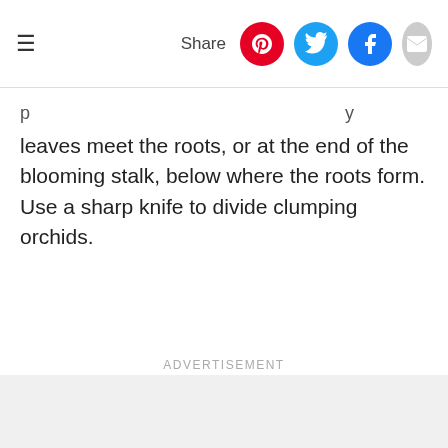≡  Share
leaves meet the roots, or at the end of the blooming stalk, below where the roots form. Use a sharp knife to divide clumping orchids.
Advertisement